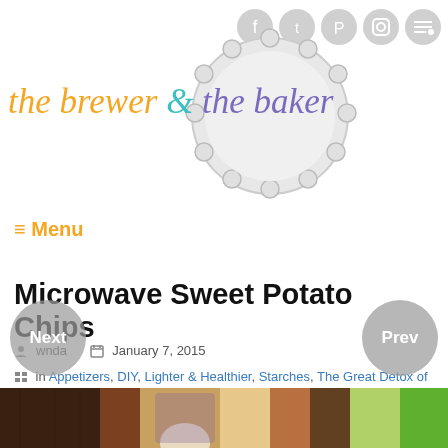[Figure (logo): The Brewer & The Baker blog logo with bottle cap graphic and social media icons (Facebook, Twitter, Pinterest, Instagram, RSS)]
≡ Menu
Microwave Sweet Potato Chips
wnda   January 7, 2015
in Appetizers, DIY, Lighter & Healthier, Starches, The Great Detox of 2015, Veggies, Whole30
[Figure (photo): Food photo strip at bottom showing sweet potato chips ingredients]